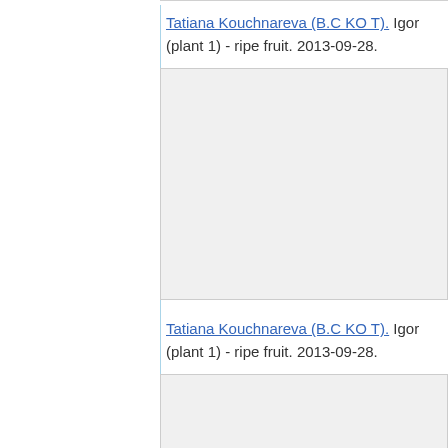Tatiana Kouchnareva (B.C KO T). Igor (plant 1) - ripe fruit. 2013-09-28.
[Figure (photo): Photo placeholder - gray box representing an image of ripe fruit from plant Igor (plant 1), dated 2013-09-28.]
Tatiana Kouchnareva (B.C KO T). Igor (plant 1) - ripe fruit. 2013-09-28.
[Figure (photo): Photo placeholder - gray box representing another image of ripe fruit from plant Igor (plant 1), dated 2013-09-28.]